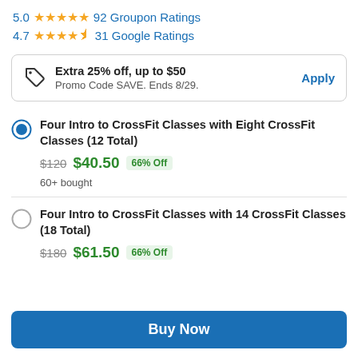5.0 ★★★★★ 92 Groupon Ratings
4.7 ★★★★✩ 31 Google Ratings
Extra 25% off, up to $50 — Promo Code SAVE. Ends 8/29. Apply
Four Intro to CrossFit Classes with Eight CrossFit Classes (12 Total) — $120 $40.50 66% Off — 60+ bought
Four Intro to CrossFit Classes with 14 CrossFit Classes (18 Total) — $180 $61.50 66% Off
Buy Now